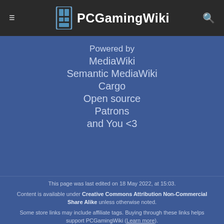PCGamingWiki
Powered by
MediaWiki
Semantic MediaWiki
Cargo
Open source
Patrons
and You <3
This page was last edited on 18 May 2022, at 15:03.
Content is available under Creative Commons Attribution Non-Commercial Share Alike unless otherwise noted.
Some store links may include affiliate tags. Buying through these links helps support PCGamingWiki (Learn more).